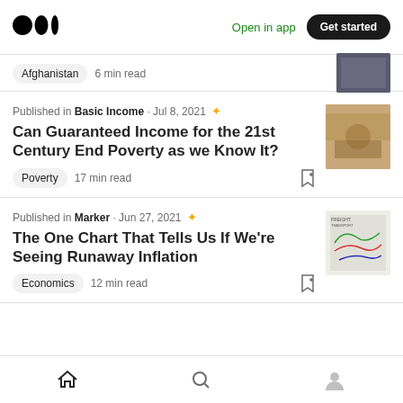Medium logo | Open in app | Get started
Afghanistan · 6 min read
Published in Basic Income · Jul 8, 2021
Can Guaranteed Income for the 21st Century End Poverty as we Know It?
Poverty · 17 min read
Published in Marker · Jun 27, 2021
The One Chart That Tells Us If We're Seeing Runaway Inflation
Economics · 12 min read